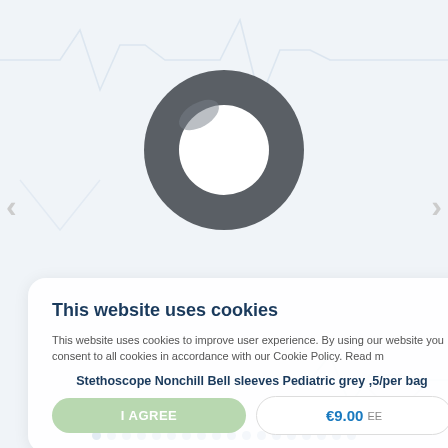[Figure (photo): Grey rubber ring/donut-shaped stethoscope nonchill bell sleeve for pediatric use, photographed on white background]
This website uses cookies
This website uses cookies to improve user experience. By using our website you consent to all cookies in accordance with our Cookie Policy. Read m
Stethoscope Nonchill Bell sleeves Pediatric grey ,5/per bag
€9.00